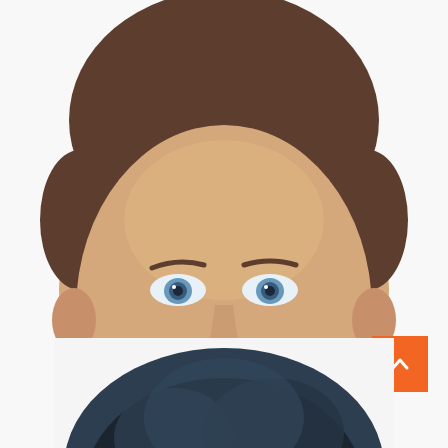[Figure (photo): Headshot photo of a man with short brown hair, blue eyes, and light stubble, wearing a dark blazer over a light blue shirt, smiling against a white background. Photo is cropped to show head and upper chest.]
QS
Gabriel
Nato Dubois
[Figure (photo): Top of a second person's head with dark hair, partially visible at the bottom of the page.]